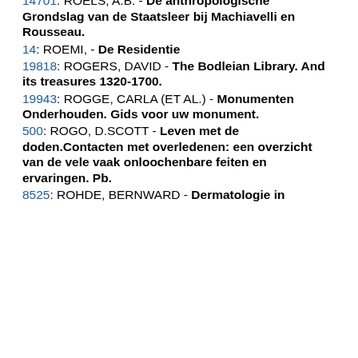concentratiekampen en het leven daarna
14701: ROELS, A.B. - De anthropologische Grondslag van de Staatsleer bij Machiavelli en Rousseau.
14: ROEMI, - De Residentie
19818: ROGERS, DAVID - The Bodleian Library. And its treasures 1320-1700.
19943: ROGGE, CARLA (ET AL.) - Monumenten Onderhouden. Gids voor uw monument.
500: ROGO, D.SCOTT - Leven met de doden.Contacten met overledenen: een overzicht van de vele vaak onloochenbare feiten en ervaringen. Pb.
8525: ROHDE, BERNWARD - Dermatologie in